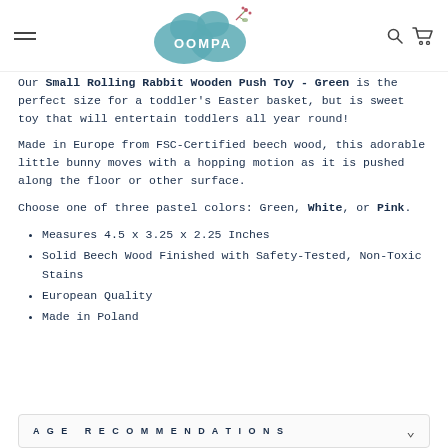OOMPA logo with navigation hamburger, search, and cart icons
Our Small Rolling Rabbit Wooden Push Toy - Green is the perfect size for a toddler's Easter basket, but is sweet toy that will entertain toddlers all year round!
Made in Europe from FSC-Certified beech wood, this adorable little bunny moves with a hopping motion as it is pushed along the floor or other surface.
Choose one of three pastel colors: Green, White, or Pink.
Measures 4.5 x 3.25 x 2.25 Inches
Solid Beech Wood Finished with Safety-Tested, Non-Toxic Stains
European Quality
Made in Poland
AGE RECOMMENDATIONS